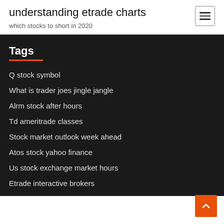understanding etrade charts
which stocks to short in 2020
Tags
Q stock symbol
What is trader joes jingle jangle
Alrm stock after hours
Td ameritrade classes
Stock market outlook week ahead
Atos stock yahoo finance
Us stock exchange market hours
Etrade interactive brokers